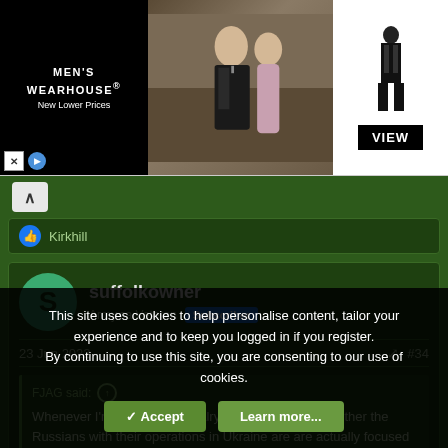[Figure (screenshot): Men's Wearhouse advertisement banner showing a couple in formal wear and a suit-wearing figure with VIEW button]
Kirkhill
suffolkowner
Army.ca Veteran  Subscriber
23 Jun 2022  #34
FJAG said:
Whenever I'm feeling particulalry cynical I wonder whether the Russians with their operations in Ukraine are are actually focused on
This site uses cookies to help personalise content, tailor your experience and to keep you logged in if you register.
By continuing to use this site, you are consenting to our use of cookies.
✓ Accept    Learn more...